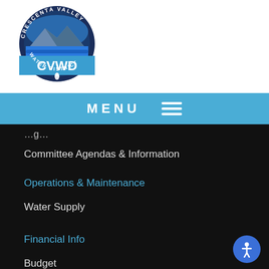[Figure (logo): Crescenta Valley Water District circular logo with CVWD text and water drop, blue and white colors]
MENU
Committee Agendas & Information
Operations & Maintenance
Water Supply
Financial Info
Budget
Audited Financial Statements
Water Rates
Sewer Rates